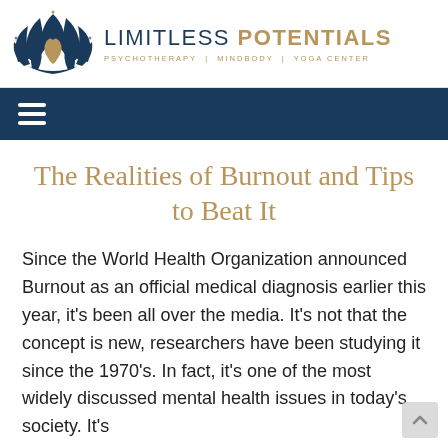[Figure (logo): Limitless Potentials logo with lotus/butterfly icon in navy and gold. Text reads LIMITLESS POTENTIALS with tagline PSYCHOTHERAPY | MINDBODY | YOGA CENTER]
The Realities of Burnout and Tips to Beat It
Since the World Health Organization announced Burnout as an official medical diagnosis earlier this year, it's been all over the media. It's not that the concept is new, researchers have been studying it since the 1970's. In fact, it's one of the most widely discussed mental health issues in today's society. It's